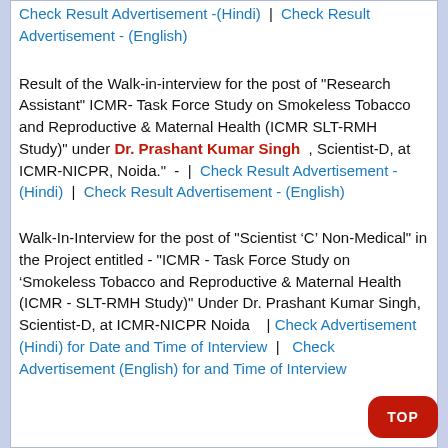Check Result Advertisement -(Hindi) | Check Result Advertisement - (English)
Result of the Walk-in-interview for the post of "Research Assistant" ICMR- Task Force Study on Smokeless Tobacco and Reproductive & Maternal Health (ICMR SLT-RMH Study)" under Dr. Prashant Kumar Singh , Scientist-D, at ICMR-NICPR, Noida."  -  | Check Result Advertisement -(Hindi) | Check Result Advertisement - (English)
Walk-In-Interview for the post of "Scientist 'C' Non-Medical" in the Project entitled - "ICMR - Task Force Study on 'Smokeless Tobacco and Reproductive & Maternal Health (ICMR - SLT-RMH Study)" Under Dr. Prashant Kumar Singh, Scientist-D, at ICMR-NICPR Noida   | Check Advertisement (Hindi) for Date and Time of Interview  |   Check Advertisement (English) for and Time of Interview